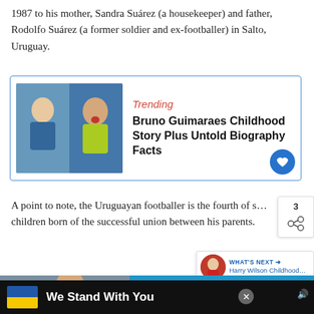1987 to his mother, Sandra Suárez (a housekeeper) and father, Rodolfo Suárez (a former soldier and ex-footballer) in Salto, Uruguay.
[Figure (other): Trending article card with image of Bruno Guimaraes as a child and as a footballer, with title 'Bruno Guimaraes Childhood Story Plus Untold Biography Facts']
A point to note, the Uruguayan footballer is the fourth of s... children born of the successful union between his parents.
[Figure (other): What's Next widget showing Harry Wilson Childhood...]
[Figure (other): READ FULL STORY bar with partial image below]
[Figure (other): Advertisement banner: We Stand With You with Ukraine flag colors]